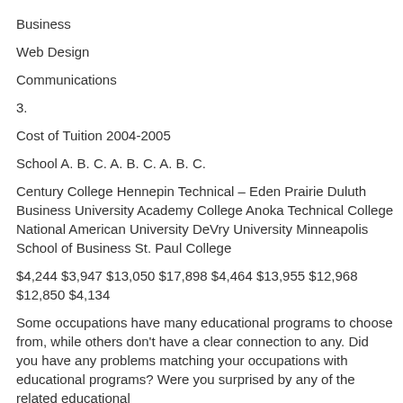Business
Web Design
Communications
3.
Cost of Tuition 2004-2005
School A. B. C. A. B. C. A. B. C.
Century College Hennepin Technical – Eden Prairie Duluth Business University Academy College Anoka Technical College National American University DeVry University Minneapolis School of Business St. Paul College
$4,244 $3,947 $13,050 $17,898 $4,464 $13,955 $12,968 $12,850 $4,134
Some occupations have many educational programs to choose from, while others don't have a clear connection to any. Did you have any problems matching your occupations with educational programs? Were you surprised by any of the related educational